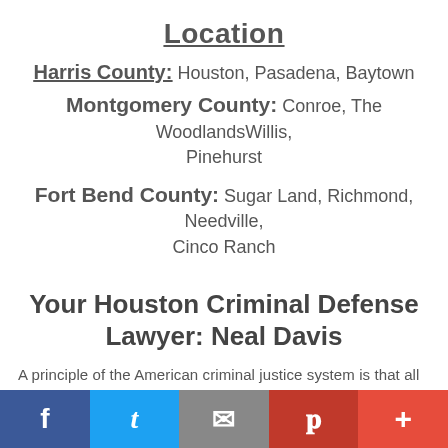Location
Harris County: Houston, Pasadena, Baytown
Montgomery County: Conroe, The WoodlandsWillis, Pinehurst
Fort Bend County: Sugar Land, Richmond, Needville, Cinco Ranch
Your Houston Criminal Defense Lawyer: Neal Davis
A principle of the American criminal justice system is that all defendants are "innocent until proven guilty." Houston criminal defense attorney Neal Davis and his skilled legal team represent individuals accused of committing crimes